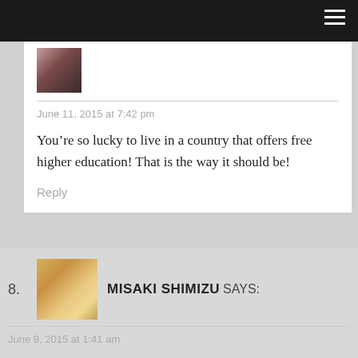June 11, 2015 at 7:42 pm
You’re so lucky to live in a country that offers free higher education! That is the way it should be!
Reply
8. MISAKI SHIMIZU SAYS:
June 9, 2015 at 1:41 am
Being from Europe, I never understood the issues of Americans with school costs until a few years ago. I still can’t believe they are charging so much for school education!